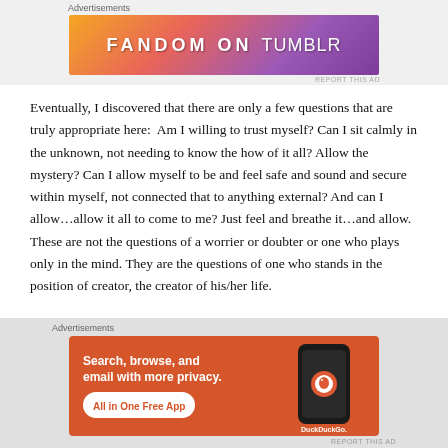Advertisements
[Figure (illustration): Fandom on Tumblr advertisement banner with colorful gradient background (orange to purple) and white bold text reading FANDOM ON tumblr]
Eventually, I discovered that there are only a few questions that are truly appropriate here:  Am I willing to trust myself? Can I sit calmly in the unknown, not needing to know the how of it all? Allow the mystery? Can I allow myself to be and feel safe and sound and secure within myself, not connected that to anything external? And can I allow…allow it all to come to me? Just feel and breathe it…and allow. These are not the questions of a worrier or doubter or one who plays only in the mind. They are the questions of one who stands in the position of creator, the creator of his/her life.
Advertisements
[Figure (illustration): DuckDuckGo advertisement on orange background. Left side text: Search, browse, and email with more privacy. All in One Free App. Right side shows a dark smartphone with DuckDuckGo logo and brand name.]